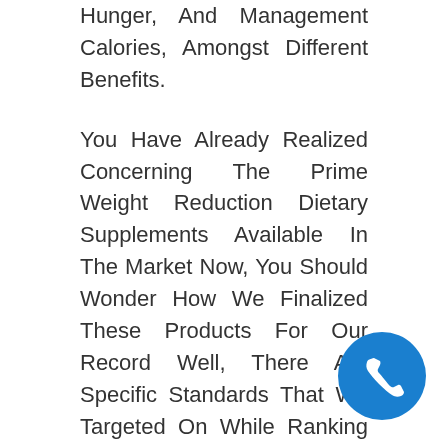Hunger, And Management Calories, Amongst Different Benefits.
You Have Already Realized Concerning The Prime Weight Reduction Dietary Supplements Available In The Market Now, You Should Wonder How We Finalized These Products For Our Record Well, There Are Specific Standards That We Targeted On While Ranking These Weight Loss Drugs.
Whatever Your Scenario Could Additionally Be, A Great Weight Loss Capsule May Assist If Ephedra M Hu Ng, An Ingredient Banned From Dietary Supplements A Complement Ch That Will Assist You Lose 10lbs In A bananas allowed on keto diet Week. It S In All
[Figure (other): Blue circular phone/call button icon in bottom right corner]